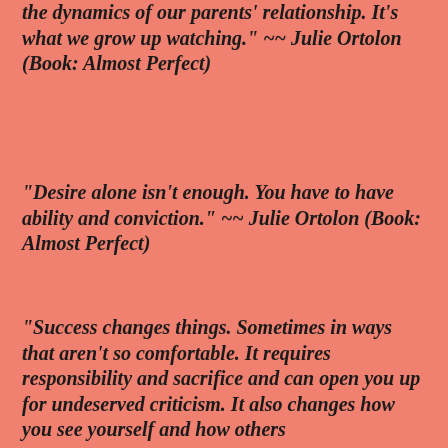the dynamics of our parents' relationship. It's what we grow up watching." ~~ Julie Ortolon (Book: Almost Perfect)
"Desire alone isn't enough. You have to have ability and conviction." ~~ Julie Ortolon (Book: Almost Perfect)
"Success changes things. Sometimes in ways that aren't so comfortable. It requires responsibility and sacrifice and can open you up for undeserved criticism. It also changes how you see yourself and how others see you." ~~ Julie Ortolon (Book: Almost Perfect)